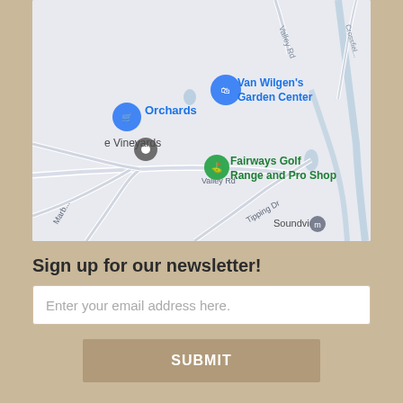[Figure (map): Google Maps screenshot showing Valley Rd area with markers for Orchards (shopping cart icon, blue), Van Wilgen's Garden Center (bag icon, blue), e Vineyards (grey pin), Fairways Golf Range and Pro Shop (green golfer icon). Road labels include Valley Rd, Tipping Dr, Marb... Road labels also include Valley Rd and Crossfield in upper right. Water features visible. Soundview label at bottom right.]
Sign up for our newsletter!
Enter your email address here.
SUBMIT